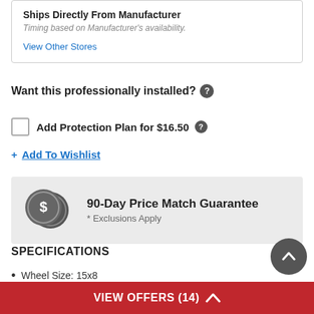Ships Directly From Manufacturer
Timing based on Manufacturer's availability.
View Other Stores
Want this professionally installed? ?
Add Protection Plan for $16.50 ?
+ Add To Wishlist
[Figure (infographic): 90-Day Price Match Guarantee banner with two overlapping dollar coin icons. Text reads '90-Day Price Match Guarantee' and '* Exclusions Apply']
SPECIFICATIONS
Wheel Size: 15x8
VIEW OFFERS (14) ^